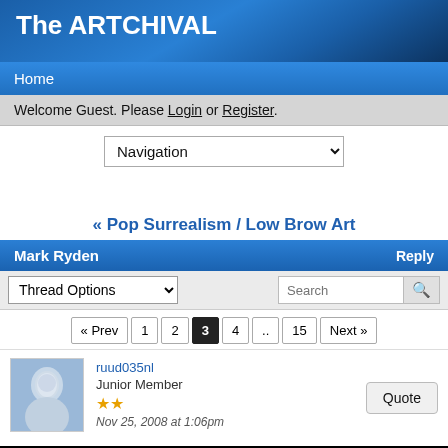The ARTCHIVAL
Home
Welcome Guest. Please Login or Register.
Navigation
« Pop Surrealism / Low Brow Art
Mark Ryden
Thread Options
Search
« Prev  1  2  3  4  ..  15  Next »
ruud035nl
Junior Member
★★
Nov 25, 2008 at 1:06pm
Quote